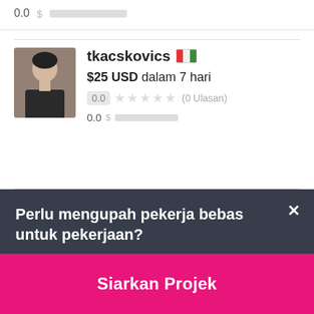0.0 [redacted bar]
[Figure (photo): Profile photo of user tkacskovics, showing a man in a dark t-shirt]
tkacskovics 🇭🇺
$25 USD dalam 7 hari
0.0 ★★★★★ (0 Ulasan)
0.0 $ [redacted earnings bar]
Perlu mengupah pekerja bebas untuk pekerjaan?
Siarkan Projek